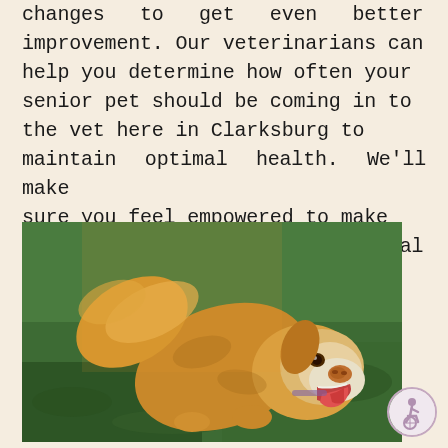changes to get even better improvement. Our veterinarians can help you determine how often your senior pet should be coming in to the vet here in Clarksburg to maintain optimal health. We'll make sure you feel empowered to make the best decisions for your animal companion.
[Figure (photo): A senior golden/yellow Labrador dog photographed from above, looking up at the camera with mouth open and tongue out, standing on green grass in warm sunlight. The dog has a graying muzzle indicating old age.]
[Figure (logo): Circular accessibility icon with a person in wheelchair symbol, light purple/mauve color scheme.]